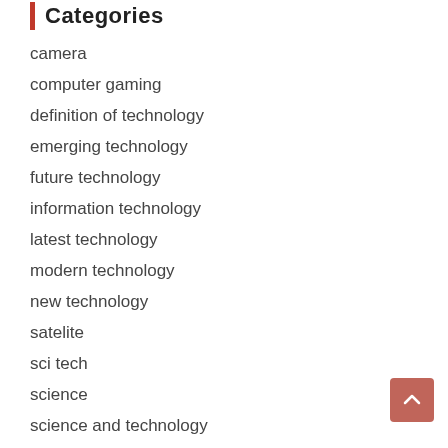Categories
camera
computer gaming
definition of technology
emerging technology
future technology
information technology
latest technology
modern technology
new technology
satelite
sci tech
science
science and technology
science daily
science in the news
smartphone
technology